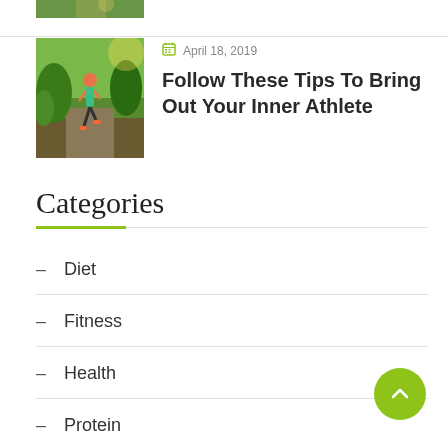[Figure (photo): Partial view of a person running on a trail, cropped at top of page]
April 18, 2019
Follow These Tips To Bring Out Your Inner Athlete
Categories
– Diet
– Fitness
– Health
– Protein
– Uncategorized